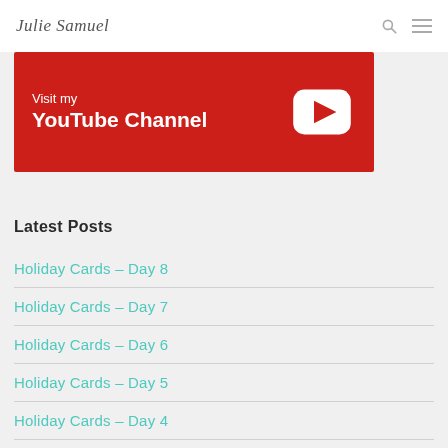Julie Samuel
[Figure (other): YouTube channel promotional banner with red background, 'Visit my YouTube Channel' text and YouTube play button logo]
Latest Posts
Holiday Cards – Day 8
Holiday Cards – Day 7
Holiday Cards – Day 6
Holiday Cards – Day 5
Holiday Cards – Day 4